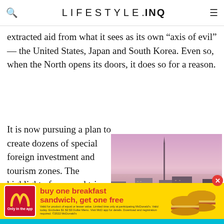LIFESTYLE.INQ
extracted aid from what it sees as its own "axis of evil" — the United States, Japan and South Korea. Even so, when the North opens its doors, it does so for a reason.
It is now pursuing a plan to create dozens of special foreign investment and tourism zones. The highlight of our road trip, majestic Mount Paektu, with its china-blue crater lake,
[Figure (photo): City skyline at dusk with hazy pink/purple sky, tall tower visible, urban buildings in foreground]
in this June … portraits of …
[Figure (infographic): McDonald's advertisement banner: buy one breakfast sandwich, get one free. Only in the app. Images of two breakfast sandwiches.]